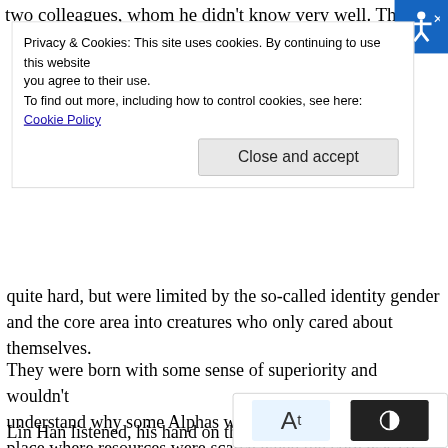two colleagues, whom he didn't know very well. They only
Privacy & Cookies: This site uses cookies. By continuing to use this website you agree to their use.
To find out more, including how to control cookies, see here: Cookie Policy
Close and accept
quite hard, but were limited by the so-called identity gender and the core area into creatures who only cared about themselves.
They were born with some sense of superiority and wouldn't understand why some Alphas were willing to be stuck in a place where resources were scarce when the core was so good, always at the forefront and not worried about being left behind. Like spoiled children, they didn't know that in fact, from the moment they were born, their fate had been categorized in that lesser category of survivor deviation.
Lin Han listened, his hand on the cap of the nutrie unscrewing it. Lin Han looked at them and wanted to say no